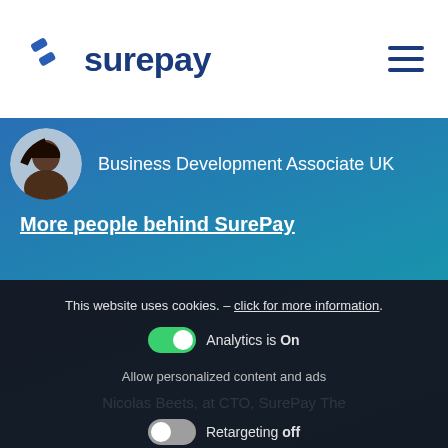surepay
Business Development Associate UK
More people behind SurePay
This website uses cookies. - click for more information.
Analytics is On
Allow personalized content and ads
Retargeting off
Okay